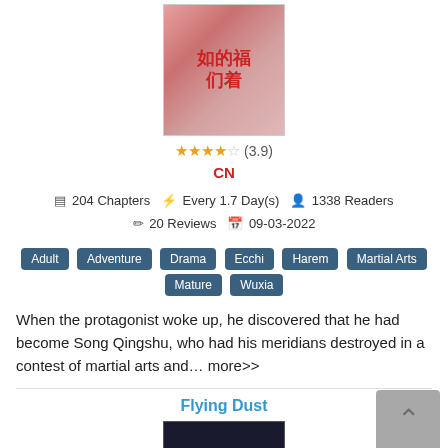[Figure (illustration): Chinese novel cover art showing a female character in traditional costume with red Chinese text]
★★★★☆ (3.9)
CN
204 Chapters  Every 1.7 Day(s)  1338 Readers  20 Reviews  09-03-2022
Adult
Adventure
Drama
Ecchi
Harem
Martial Arts
Mature
Wuxia
When the protagonist woke up, he discovered that he had become Song Qingshu, who had his meridians destroyed in a contest of martial arts and... more>>
Flying Dust
[Figure (illustration): Dark book cover for Flying Dust]